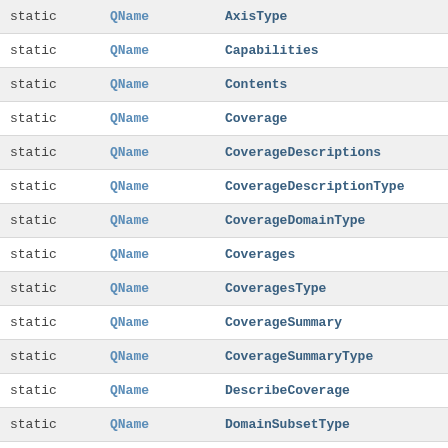| modifier | type | name |
| --- | --- | --- |
| static | QName | AxisType |
| static | QName | Capabilities |
| static | QName | Contents |
| static | QName | Coverage |
| static | QName | CoverageDescriptions |
| static | QName | CoverageDescriptionType |
| static | QName | CoverageDomainType |
| static | QName | Coverages |
| static | QName | CoveragesType |
| static | QName | CoverageSummary |
| static | QName | CoverageSummaryType |
| static | QName | DescribeCoverage |
| static | QName | DomainSubsetType |
| static | QName | FieldType |
| static | QName | GetCapabilities |